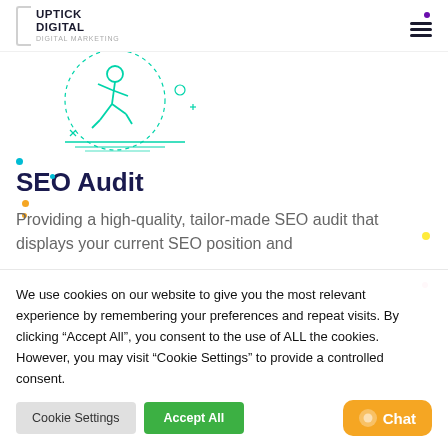[Figure (logo): Uptick Digital logo with bracket and company name]
[Figure (illustration): Green line art illustration of a running person with dashed circle and plus signs]
SEO Audit
Providing a high-quality, tailor-made SEO audit that displays your current SEO position and
We use cookies on our website to give you the most relevant experience by remembering your preferences and repeat visits. By clicking “Accept All”, you consent to the use of ALL the cookies. However, you may visit “Cookie Settings” to provide a controlled consent.